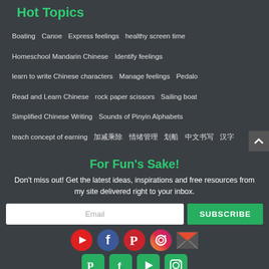Hot Topics
Boating
Canoe
Express feelings
healthy screen time
Homeschool Mandarin Chinese
Identify feelings
learn to write Chinese characters
Manage feelings
Pedalo
Read and Learn Chinese
rock paper scissors
Sailing boat
Simplified Chinese Writing
Sounds of Pinyin Alphabets
teach concept of earning
For Fun's Sake!
Don't miss out! Get the latest ideas, inspirations and free resources from my site delivered right to your inbox.
[Figure (infographic): Email subscribe form with Email input field and green SUBSCRIBE button, plus social media icons (YouTube, Facebook, Pinterest, Instagram, Email) and a second row of green social icons (Pinterest, Facebook, YouTube, Instagram)]